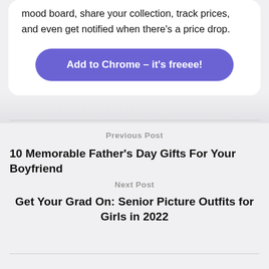mood board, share your collection, track prices, and even get notified when there's a price drop.
Add to Chrome – it's freeee!
Previous Post
10 Memorable Father's Day Gifts For Your Boyfriend
Next Post
Get Your Grad On: Senior Picture Outfits for Girls in 2022